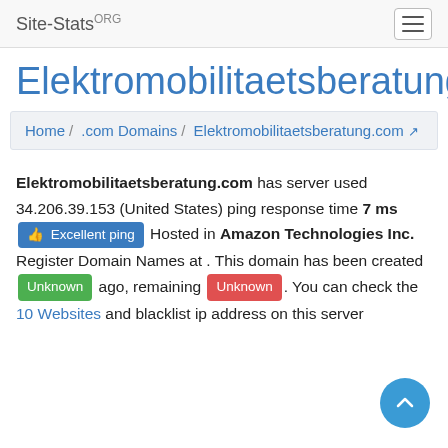Site-Stats.ORG
Elektromobilitaetsberatung.
Home / .com Domains / Elektromobilitaetsberatung.com
Elektromobilitaetsberatung.com has server used 34.206.39.153 (United States) ping response time 7 ms [Excellent ping] Hosted in Amazon Technologies Inc. Register Domain Names at . This domain has been created [Unknown] ago, remaining [Unknown]. You can check the 10 Websites and blacklist ip address on this server